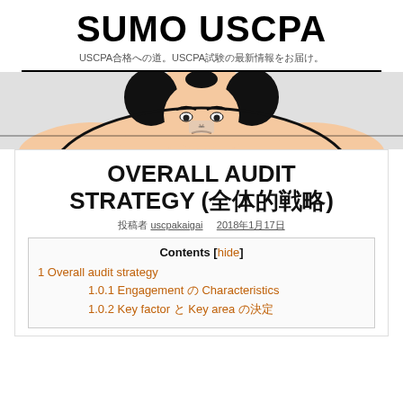SUMO USCPA
USCPA合格への道。USCPA試験の最新情報をお届け。
[Figure (illustration): Sumo wrestler illustration peeking over a horizontal line, cartoon style with facial features visible]
OVERALL AUDIT STRATEGY (全体的戦略)
投稿者 uscpakaigai   2018年1月17日
| Contents |
| --- |
| 1 Overall audit strategy |
| 1.0.1 Engagement の Characteristics |
| 1.0.2 Key factor と Key area の決定 |